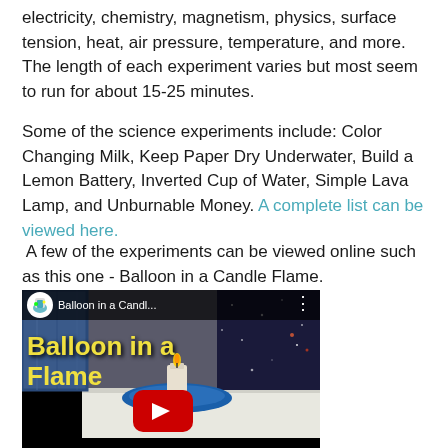electricity, chemistry, magnetism, physics, surface tension, heat, air pressure, temperature, and more. The length of each experiment varies but most seem to run for about 15-25 minutes.
Some of the science experiments include: Color Changing Milk, Keep Paper Dry Underwater, Build a Lemon Battery, Inverted Cup of Water, Simple Lava Lamp, and Unburnable Money. A complete list can be viewed here.
A few of the experiments can be viewed online such as this one - Balloon in a Candle Flame.
[Figure (screenshot): YouTube video thumbnail for 'Balloon in a Candl...' showing a balloon in a candle flame experiment. The thumbnail has a dark background with starry space-like imagery on the right, blue jeans fabric on the left, and a candle on a blue plate on a white table. Yellow overlay text reads 'Balloon in a Flame' and a red YouTube play button is centered.]